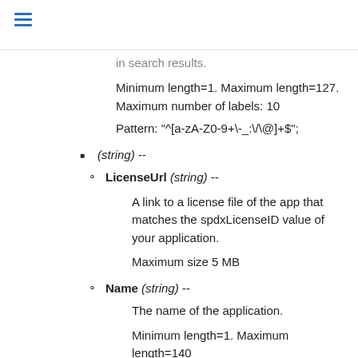in search results.
Minimum length=1. Maximum length=127. Maximum number of labels: 10
Pattern: "^[a-zA-Z0-9+\-_:\/\@]+$";
(string) --
LicenseUrl (string) --
A link to a license file of the app that matches the spdxLicenseID value of your application.
Maximum size 5 MB
Name (string) --
The name of the application.
Minimum length=1. Maximum length=140